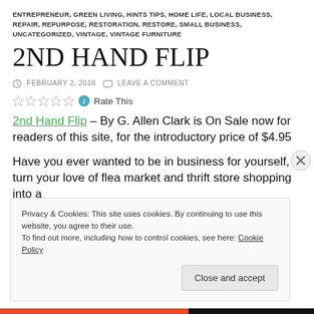ENTREPRENEUR, GREEN LIVING, HINTS TIPS, HOME LIFE, LOCAL BUSINESS, REPAIR, REPURPOSE, RESTORATION, RESTORE, SMALL BUSINESS, UNCATEGORIZED, VINTAGE, VINTAGE FURNITURE
2ND HAND FLIP
FEBRUARY 2, 2018   LEAVE A COMMENT
Rate This
2nd Hand Flip – By G. Allen Clark is On Sale now for readers of this site, for the introductory price of $4.95
Have you ever wanted to be in business for yourself, or turn your love of flea market and thrift store shopping into a
Privacy & Cookies: This site uses cookies. By continuing to use this website, you agree to their use.
To find out more, including how to control cookies, see here: Cookie Policy
Close and accept